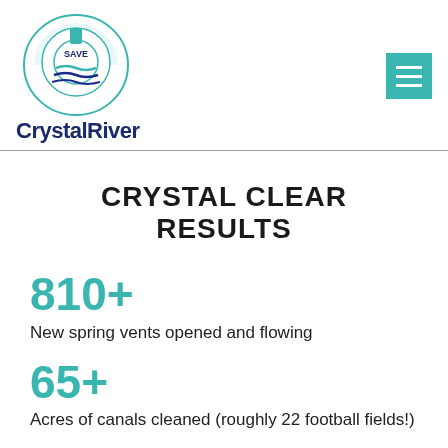Save CrystalRiver
CRYSTAL CLEAR RESULTS
810+
New spring vents opened and flowing
65+
Acres of canals cleaned (roughly 22 football fields!)
350,000+